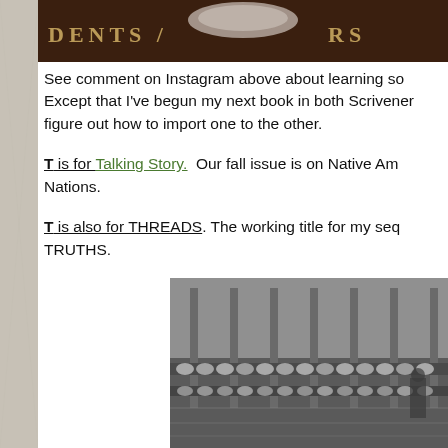[Figure (photo): Top banner with dark brown background showing partial text 'DENTS / ...RS' in gold lettering, like a book or magazine title header]
See comment on Instagram above about learning so... Except that I've begun my next book in both Scrivener... figure out how to import one to the other.
T is for Talking Story.  Our fall issue is on Native Am... Nations.
T is also for THREADS. The working title for my seq... TRUTHS.
[Figure (photo): Black and white historical photograph of a textile mill or thread factory interior, showing rows of spools/bobbins on industrial machinery with a worker visible]